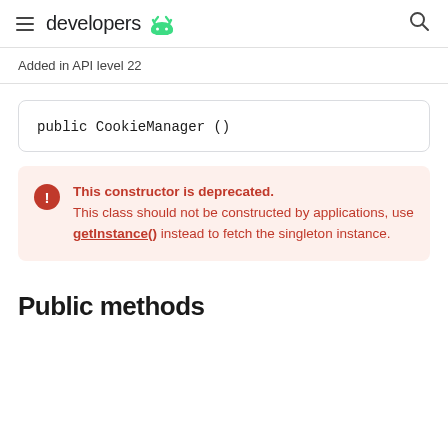developers
Added in API level 22
public CookieManager ()
This constructor is deprecated. This class should not be constructed by applications, use getInstance() instead to fetch the singleton instance.
Public methods